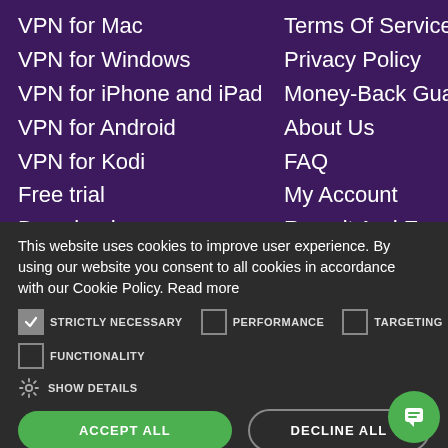VPN for Mac
VPN for Windows
VPN for iPhone and iPad
VPN for Android
VPN for Kodi
Free trial
Download
Terms Of Service
Privacy Policy
Money-Back Guarantee
About Us
FAQ
My Account
Recruit And Earn
This website uses cookies to improve user experience. By using our website you consent to all cookies in accordance with our Cookie Policy. Read more
STRICTLY NECESSARY   PERFORMANCE   TARGETING   FUNCTIONALITY   SHOW DETAILS
ACCEPT ALL   DECLINE ALL